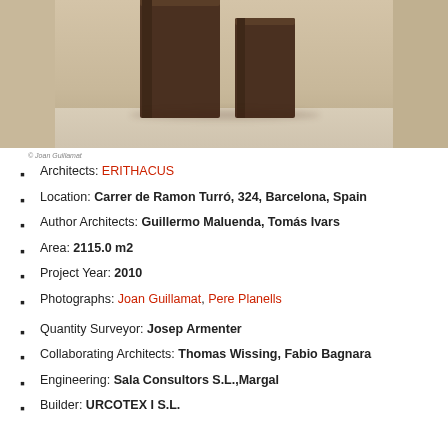[Figure (photo): Interior photograph showing dark brown sculptural block forms on a light floor, cropped at top]
© Joan Guillamat
Architects: ERITHACUS
Location: Carrer de Ramon Turró, 324, Barcelona, Spain
Author Architects: Guillermo Maluenda, Tomás Ivars
Area: 2115.0 m2
Project Year: 2010
Photographs: Joan Guillamat, Pere Planells
Quantity Surveyor: Josep Armenter
Collaborating Architects: Thomas Wissing, Fabio Bagnara
Engineering: Sala Consultors S.L.,Margal
Builder: URCOTEX I S.L.